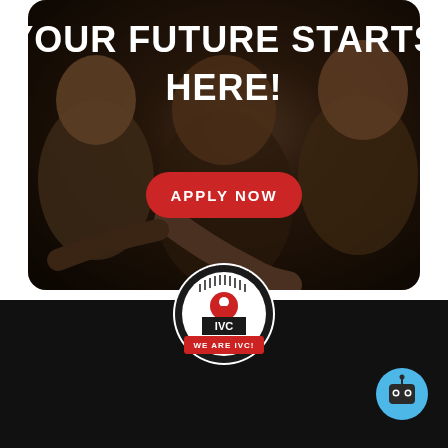[Figure (photo): Hero banner image showing three young people pointing at the camera against a dark background, with bold white text overlay reading 'YOUR FUTURE STARTS HERE!' and a red 'APPLY NOW' button]
[Figure (logo): Imperial Valley College circular seal logo with red banner reading 'WE ARE IVC!' at the bottom]
[Figure (other): Blue circular chatbot button with robot face icon in the bottom right of the page]